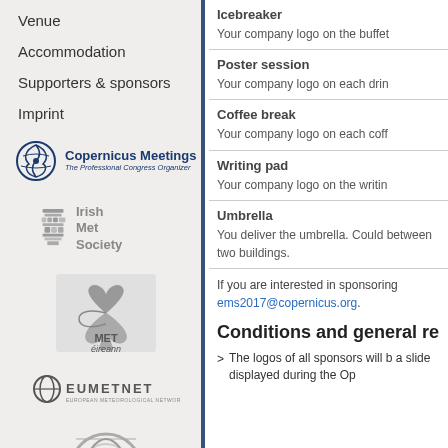Venue
Accommodation
Supporters & sponsors
Imprint
[Figure (logo): Copernicus Meetings - The Professional Congress Organizer logo]
[Figure (logo): Irish Met Society logo with text]
[Figure (logo): MET Éireann logo - swirl graphic with text]
[Figure (logo): EUMETNET logo]
[Figure (logo): Partial circular logo at bottom]
| Icebreaker | Your company logo on the buffet |
| Poster session | Your company logo on each drin |
| Coffee break | Your company logo on each coff |
| Writing pad | Your company logo on the writin |
| Umbrella | You deliver the umbrella. Could between two buildings. |
If you are interested in sponsoring ems2017@copernicus.org.
Conditions and general re
The logos of all sponsors will be a slide displayed during the Op